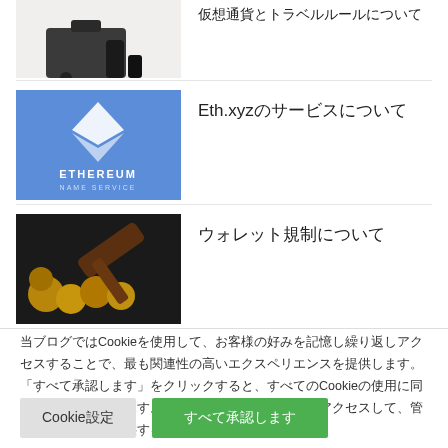[Figure (photo): Person sitting with luggage/briefcase (partial, top cropped)]
仮想通貨とトラベルルールについて
[Figure (logo): Ethereum Name Service logo on blue background]
Eth.xyzのサービスについて
[Figure (photo): Gavel on coins - cryptocurrency regulation image]
ウォレット規制について
当ブログではCookieを使用して、お客様の好みを記憶し繰り返しアクセスすることで、最も関連性の高いエクスペリエンスを提供します。「すべて承認します」をクリックすると、すべてのCookieの使用に同意したことになります。ただし、「Cookie設定」にアクセスして、管理された同意を提供することができます。
Cookie設定
すべて承認します